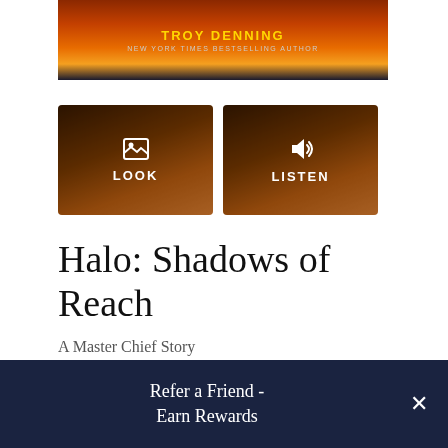[Figure (photo): Book cover banner showing Troy Denning as author, New York Times Bestselling Author subtitle, with orange/red flame background]
[Figure (screenshot): LOOK button with image icon on orange/dark book cover background]
[Figure (screenshot): LISTEN button with speaker icon on orange/dark book cover background]
Halo: Shadows of Reach
A Master Chief Story
Book #27 of Halo
By Troy Denning
Refer a Friend - Earn Rewards